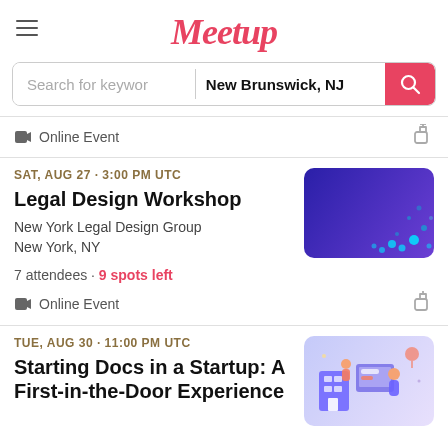[Figure (logo): Meetup logo in pink/red cursive font with hamburger menu icon on the left]
Search for keywords  New Brunswick, NJ
Online Event
SAT, AUG 27 · 3:00 PM UTC
Legal Design Workshop
New York Legal Design Group
New York, NY
[Figure (illustration): Dark purple/blue gradient rectangle with glowing cyan dots scattered in lower right area]
7 attendees · 9 spots left
Online Event
TUE, AUG 30 · 11:00 PM UTC
Starting Docs in a Startup: A First-in-the-Door Experience
[Figure (illustration): Colorful tech startup illustration with people, screens, and floating interface elements in purple and orange tones]